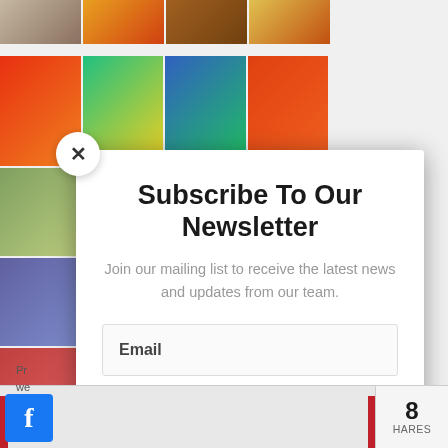[Figure (photo): Top row of indoor activity/restaurant photos]
[Figure (photo): Grid of colorful indoor play area and water park photos on the left background]
Subscribe To Our Newsletter
Join our mailing list to receive the latest news and updates from our team.
Email
SUBSCRIBE!
Pr we To Po
8 HARES